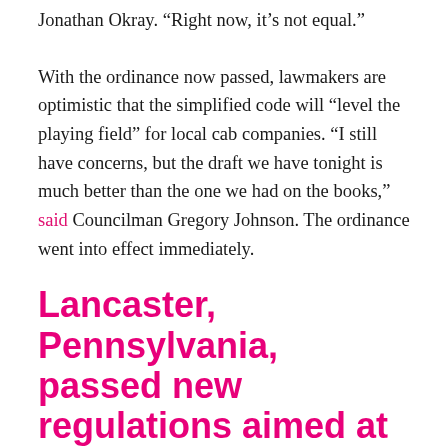Jonathan Okray. “Right now, it’s not equal.”
With the ordinance now passed, lawmakers are optimistic that the simplified code will “level the playing field” for local cab companies. “I still have concerns, but the draft we have tonight is much better than the one we had on the books,” said Councilman Gregory Johnson. The ordinance went into effect immediately.
Lancaster, Pennsylvania, passed new regulations aimed at decreasing lead exposure.